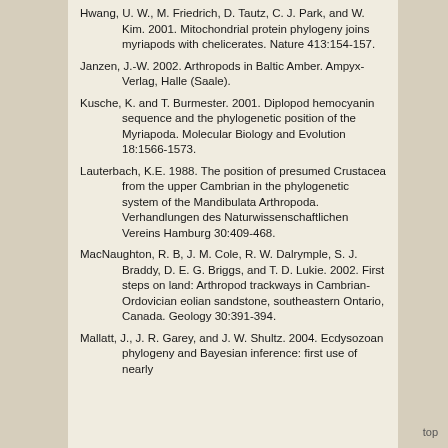Hwang, U. W., M. Friedrich, D. Tautz, C. J. Park, and W. Kim. 2001. Mitochondrial protein phylogeny joins myriapods with chelicerates. Nature 413:154-157.
Janzen, J.-W. 2002. Arthropods in Baltic Amber. Ampyx-Verlag, Halle (Saale).
Kusche, K. and T. Burmester. 2001. Diplopod hemocyanin sequence and the phylogenetic position of the Myriapoda. Molecular Biology and Evolution 18:1566-1573.
Lauterbach, K.E. 1988. The position of presumed Crustacea from the upper Cambrian in the phylogenetic system of the Mandibulata Arthropoda. Verhandlungen des Naturwissenschaftlichen Vereins Hamburg 30:409-468.
MacNaughton, R. B, J. M. Cole, R. W. Dalrymple, S. J. Braddy, D. E. G. Briggs, and T. D. Lukie. 2002. First steps on land: Arthropod trackways in Cambrian-Ordovician eolian sandstone, southeastern Ontario, Canada. Geology 30:391-394.
Mallatt, J., J. R. Garey, and J. W. Shultz. 2004. Ecdysozoan phylogeny and Bayesian inference: first use of nearly complete 28S and 18S rRNA…